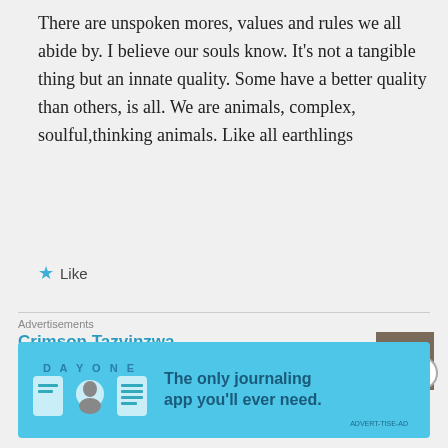There are unspoken mores, values and rules we all abide by. I believe our souls know. It's not a tangible thing but an innate quality. Some have a better quality than others, is all. We are animals, complex, soulful,thinking animals. Like all earthlings
★ Like
Crimson Tazvinzwa
May 14, 2018 at 2:40 pm
1 John 4:1 New International Version (NIV)
Advertisements
[Figure (screenshot): Day One journaling app advertisement banner with light blue background, app logo, icons, and text 'The only journaling app you'll ever need.']